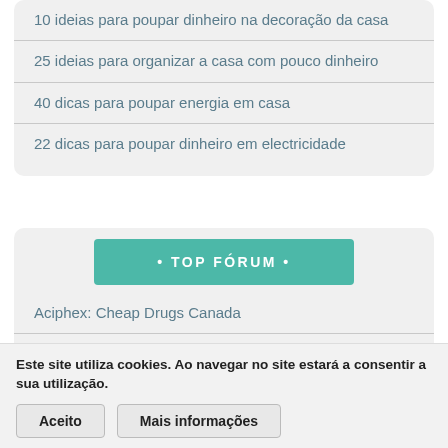10 ideias para poupar dinheiro na decoração da casa
25 ideias para organizar a casa com pouco dinheiro
40 dicas para poupar energia em casa
22 dicas para poupar dinheiro em electricidade
• TOP FÓRUM •
Aciphex: Cheap Drugs Canada
Cefixime: Cheap Prescriptions
Este site utiliza cookies. Ao navegar no site estará a consentir a sua utilização.
Aceito   Mais informações